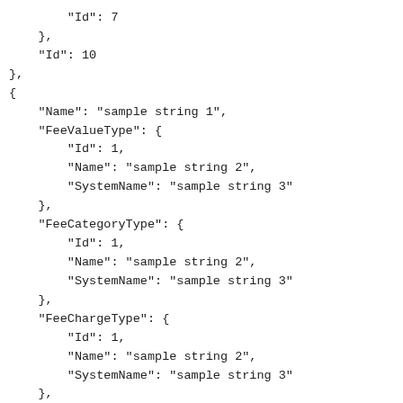"Id": 7
},
"Id": 10
},
{
    "Name": "sample string 1",
    "FeeValueType": {
        "Id": 1,
        "Name": "sample string 2",
        "SystemName": "sample string 3"
    },
    "FeeCategoryType": {
        "Id": 1,
        "Name": "sample string 2",
        "SystemName": "sample string 3"
    },
    "FeeChargeType": {
        "Id": 1,
        "Name": "sample string 2",
        "SystemName": "sample string 3"
    },
    "FeeLiabilityType": {
        "Id": ...